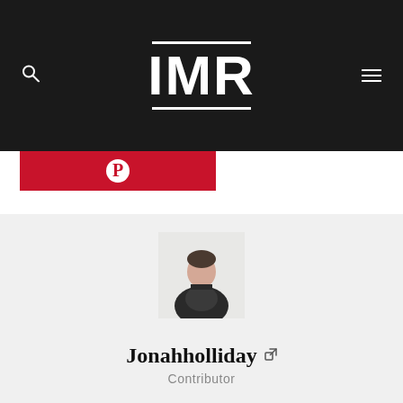IMR
[Figure (logo): IMR logo — white letters I, M, R with horizontal lines above and below, on dark background]
[Figure (photo): Pinterest icon (circled P) on red background bar]
[Figure (photo): Profile photo of Jonahholliday, a man in dark clothing against light background]
Jonahholliday
Contributor